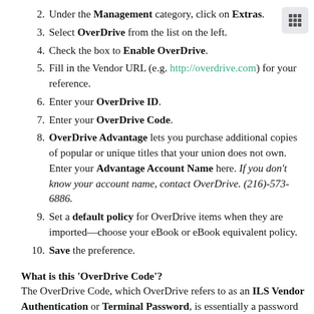[Figure (other): Grid/menu icon (3x3 dots) in a rounded square button]
2. Under the Management category, click on Extras.
3. Select OverDrive from the list on the left.
4. Check the box to Enable OverDrive.
5. Fill in the Vendor URL (e.g. http://overdrive.com) for your reference.
6. Enter your OverDrive ID.
7. Enter your OverDrive Code.
8. OverDrive Advantage lets you purchase additional copies of popular or unique titles that your union does not own. Enter your Advantage Account Name here. If you don't know your account name, contact OverDrive. (216)-573-6886.
9. Set a default policy for OverDrive items when they are imported—choose your eBook or eBook equivalent policy.
10. Save the preference.
What is this 'OverDrive Code'?
The OverDrive Code, which OverDrive refers to as an ILS Vendor Authentication or Terminal Password, is essentially a password which you create and provide to OverDrive. It